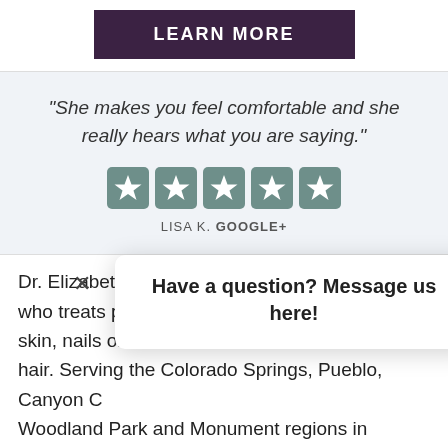LEARN MORE
"She makes you feel comfortable and she really hears what you are saying."
[Figure (other): Five filled star rating icons in teal/grey color]
LISA K. GOOGLE+
Have a question? Message us here!
Dr. Elizabeth who treats patients of all ages for diseases of skin, nails or hair. Serving the Colorado Springs, Pueblo, Canyon C... Woodland Park and Monument regions in Colorad... specialties include cosmetic dermatology, surgical